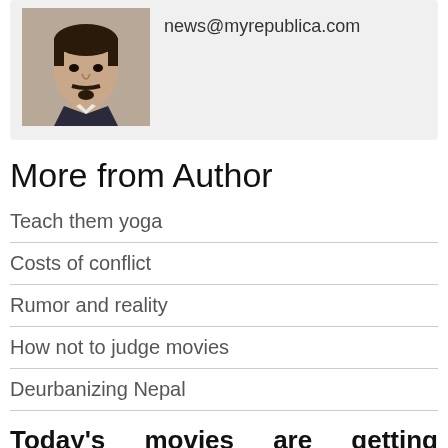[Figure (photo): Headshot photo of a man with a beard, placed in a grey author info box alongside an email address.]
news@myrepublica.com
More from Author
Teach them yoga
Costs of conflict
Rumor and reality
How not to judge movies
Deurbanizing Nepal
Today's movies are getting international recognition and awards